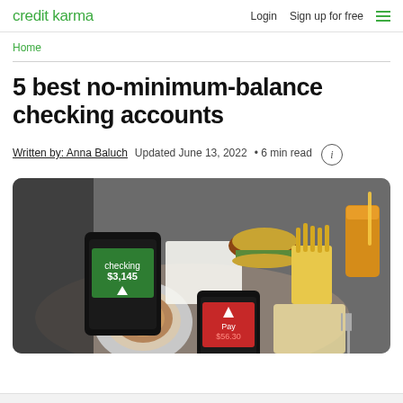credit karma  Login  Sign up for free
Home
5 best no-minimum-balance checking accounts
Written by: Anna Baluch  Updated June 13, 2022  • 6 min read
[Figure (photo): Overhead view of a cafe table with food, coffee, and two smartphones displaying mobile banking apps with payment screens]